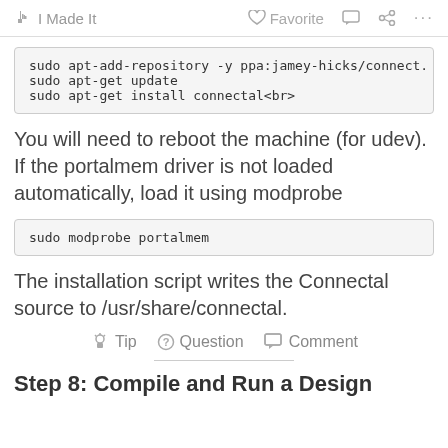I Made It   Favorite   Comment   Share   ...
sudo apt-add-repository -y ppa:jamey-hicks/connect.
sudo apt-get update
sudo apt-get install connectal<br>
You will need to reboot the machine (for udev). If the portalmem driver is not loaded automatically, load it using modprobe
sudo modprobe portalmem
The installation script writes the Connectal source to /usr/share/connectal.
Tip   Question   Comment
Step 8: Compile and Run a Design